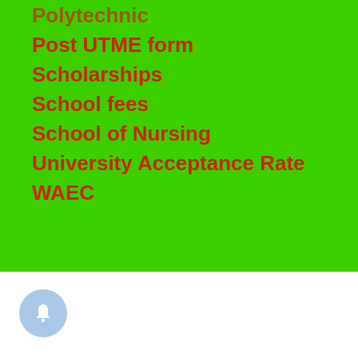Polytechnic
Post UTME form
Scholarships
School fees
School of Nursing
University Acceptance Rate
WAEC
[Figure (illustration): Notification bell button icon, light blue circular button with bell icon]